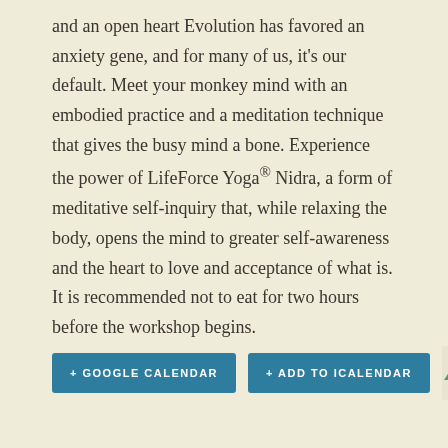and an open heart Evolution has favored an anxiety gene, and for many of us, it's our default. Meet your monkey mind with an embodied practice and a meditation technique that gives the busy mind a bone. Experience the power of LifeForce Yoga® Nidra, a form of meditative self-inquiry that, while relaxing the body, opens the mind to greater self-awareness and the heart to love and acceptance of what is. It is recommended not to eat for two hours before the workshop begins.
+ GOOGLE CALENDAR
+ ADD TO ICALENDAR